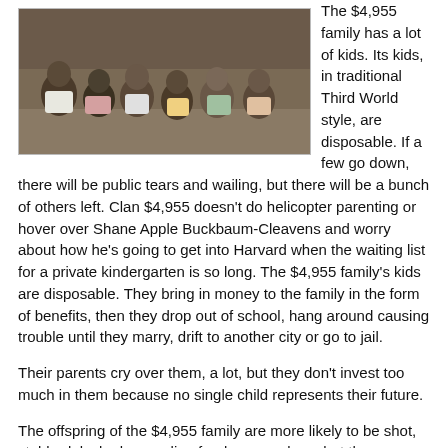[Figure (photo): Group of young children sitting together, appears to be in a developing country setting]
The $4,955 family has a lot of kids. Its kids, in traditional Third World style, are disposable. If a few go down, there will be public tears and wailing, but there will be a bunch of others left. Clan $4,955 doesn't do helicopter parenting or hover over Shane Apple Buckbaum-Cleavens and worry about how he's going to get into Harvard when the waiting list for a private kindergarten is so long. The $4,955 family's kids are disposable. They bring in money to the family in the form of benefits, then they drop out of school, hang around causing trouble until they marry, drift to another city or go to jail.
Their parents cry over them, a lot, but they don't invest too much in them because no single child represents their future.
The offspring of the $4,955 family are more likely to be shot, stabbed, locked up or die of a drug overdose, but the $110,729 family is more likely to be left childless. It's almost completely certain that the $4,955 family will extend into the